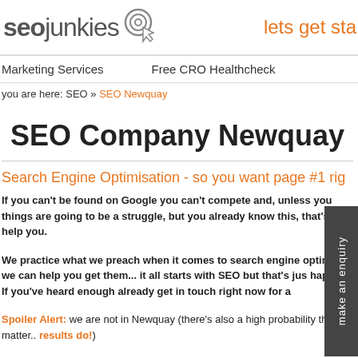seojunkies @ lets get sta
Marketing Services   Free CRO Healthcheck
you are here: SEO » SEO Newquay
SEO Company Newquay
Search Engine Optimisation - so you want page #1 rig
If you can't be found on Google you can't compete and, unless you things are going to be a struggle, but you already know this, that's w help you.
We practice what we preach when it comes to search engine optim and we can help you get them... it all starts with SEO but that's jus happen. If you've heard enough already get in touch right now for a
Spoiler Alert: we are not in Newquay (there's also a high probability that matter.. results do!)